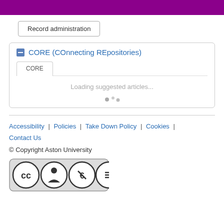[Figure (other): Purple header banner bar]
Record administration
CORE (COnnecting REpositories)
CORE
Loading suggested articles...
Accessibility | Policies | Take Down Policy | Cookies | Contact Us
© Copyright Aston University
[Figure (logo): Creative Commons CC BY-NC-ND license badge]